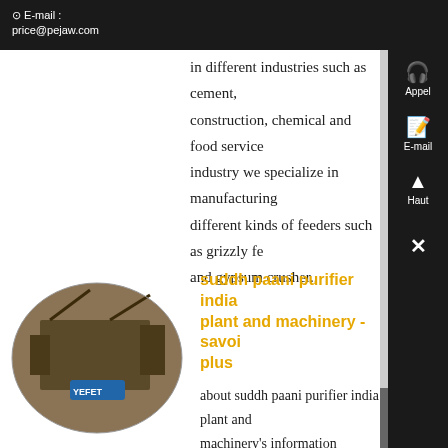⊙ E-mail : price@pejaw.com
in different industries such as cement, construction, chemical and food service industry we specialize in manufacturing different kinds of feeders such as grizzly fe and gypsum crusher..
[Figure (photo): Industrial mining or construction machinery at a site, shown in a circular/oval cropped image with YEFET branding visible]
suddh paani purifier india plant and machinery - savoi plus
about suddh paani purifier india plant and machinery's information bombay bar and kitchen, ny groupon if you'd like to share it with us so you can take advantage of facebook login, you can update your facebook